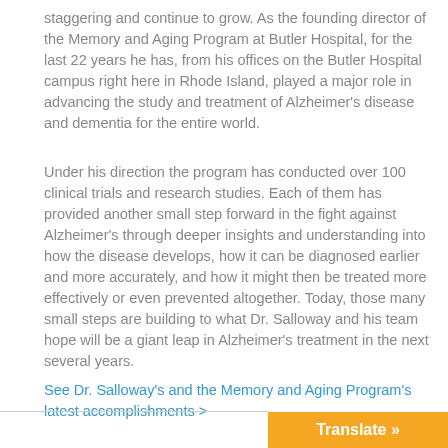staggering and continue to grow. As the founding director of the Memory and Aging Program at Butler Hospital, for the last 22 years he has, from his offices on the Butler Hospital campus right here in Rhode Island, played a major role in advancing the study and treatment of Alzheimer's disease and dementia for the entire world.
Under his direction the program has conducted over 100 clinical trials and research studies. Each of them has provided another small step forward in the fight against Alzheimer's through deeper insights and understanding into how the disease develops, how it can be diagnosed earlier and more accurately, and how it might then be treated more effectively or even prevented altogether. Today, those many small steps are building to what Dr. Salloway and his team hope will be a giant leap in Alzheimer's treatment in the next several years.
See Dr. Salloway's and the Memory and Aging Program's latest accomplishments >